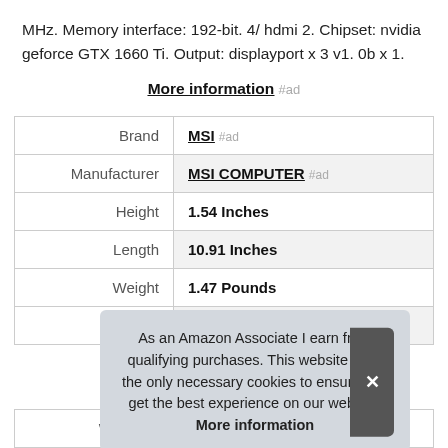MHz. Memory interface: 192-bit. 4/ hdmi 2. Chipset: nvidia geforce GTX 1660 Ti. Output: displayport x 3 v1. 0b x 1.
More information #ad
|  |  |
| --- | --- |
| Brand | MSI #ad |
| Manufacturer | MSI COMPUTER #ad |
| Height | 1.54 Inches |
| Length | 10.91 Inches |
| Weight | 1.47 Pounds |
| P |  |
| Warranty | 3 Years |
As an Amazon Associate I earn from qualifying purchases. This website uses the only necessary cookies to ensure you get the best experience on our website. More information